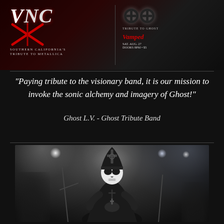[Figure (photo): Top banner with two band logos: left side shows a metal band 'VNC' with 'Southern California's Tribute to Metallica' text and red X graphic; right side shows Ghost tribute band logo with venue info 'Sat. Aug. 27, Doors 8pm • $5' and Vamped venue name.]
"Paying tribute to the visionary band, it is our mission to invoke the sonic alchemy and imagery of Ghost!"
Ghost L.V. - Ghost Tribute Band
[Figure (photo): Black and white live concert photo of a performer in Ghost tribute band costume — skeleton face paint, papal mitre hat with cross symbol, dark robes with inverted cross pendant, standing at microphone with stage lighting behind.]